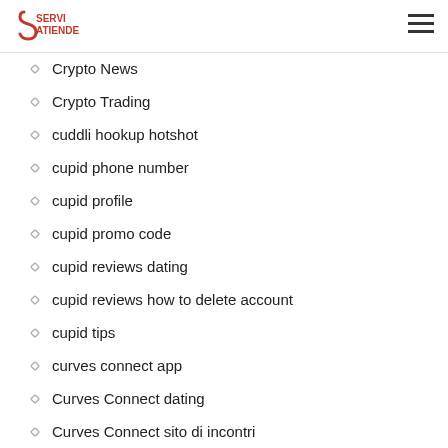SERVI ATIENDE
crossdresser reviews
Crypto Casino
Crypto News
Crypto Trading
cuddli hookup hotshot
cupid phone number
cupid profile
cupid promo code
cupid reviews dating
cupid reviews how to delete account
cupid tips
curves connect app
Curves Connect dating
Curves Connect sito di incontri
curves connect visitors
CurvesConnect sign in
Curvy Girls Live Cam
Curvy Girls Live Webcam Sex